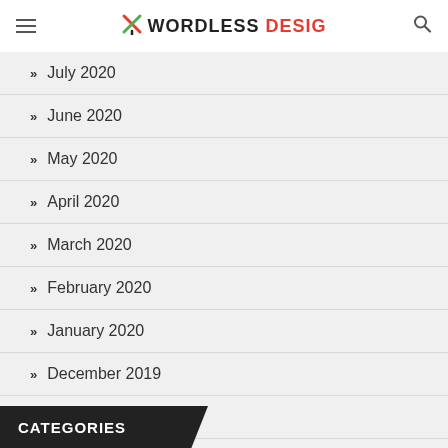WORDLESS DESIG
July 2020
June 2020
May 2020
April 2020
March 2020
February 2020
January 2020
December 2019
November 2019
October 2019
CATEGORIES